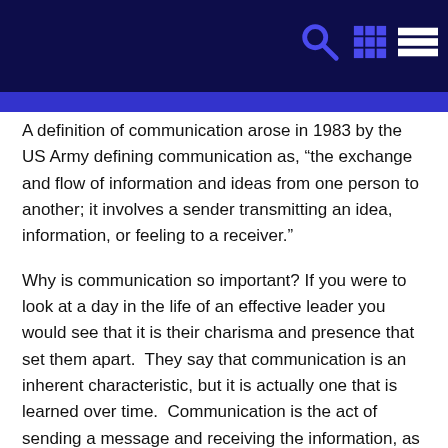A definition of communication arose in 1983 by the US Army defining communication as, “the exchange and flow of information and ideas from one person to another; it involves a sender transmitting an idea, information, or feeling to a receiver.”
Why is communication so important? If you were to look at a day in the life of an effective leader you would see that it is their charisma and presence that set them apart.  They say that communication is an inherent characteristic, but it is actually one that is learned over time.  Communication is the act of sending a message and receiving the information, as opposed to talking which is just sending information.